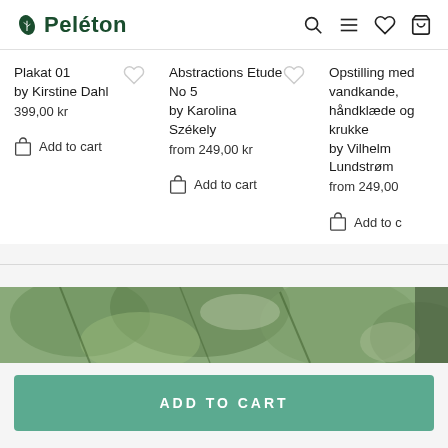Peléton
Plakat 01
by Kirstine Dahl
399,00 kr
Add to cart
Abstractions Etude No 5
by Karolina Székely
from 249,00 kr
Add to cart
Opstilling med vandkande, håndklæde og krukke
by Vilhelm Lundstrøm
from 249,00
Add to c
[Figure (photo): Partial green foliage background image strip]
ADD TO CART